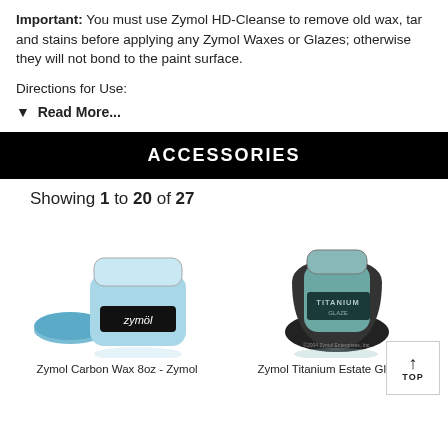Important: You must use Zymol HD-Cleanse to remove old wax, tar and stains before applying any Zymol Waxes or Glazes; otherwise they will not bond to the paint surface.
Directions for Use:
▼  Read More...
ACCESSORIES
Showing 1 to 20 of 27
[Figure (photo): Zymol Carbon Wax 8oz jar with blue applicator pad]
[Figure (photo): Zymol Titanium Estate Glaze jar with black cloth bag]
Zymol Carbon Wax 8oz - Zymol
Zymol Titanium Estate Glaze